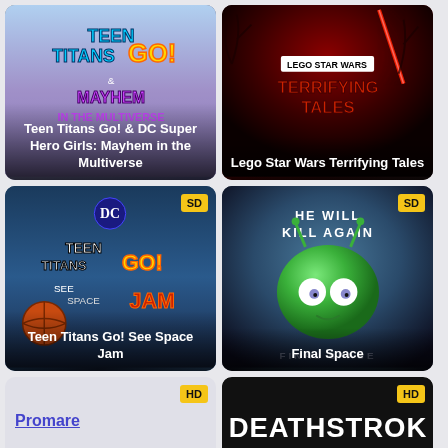[Figure (screenshot): Teen Titans Go! & DC Super Hero Girls: Mayhem in the Multiverse movie card with animated blue/purple background]
Teen Titans Go! & DC Super Hero Girls: Mayhem in the Multiverse
[Figure (screenshot): Lego Star Wars Terrifying Tales movie card with dark red background]
Lego Star Wars Terrifying Tales
[Figure (screenshot): Teen Titans Go! See Space Jam movie card with SD badge]
Teen Titans Go! See Space Jam
[Figure (screenshot): Final Space card with green alien and SD badge]
Final Space
[Figure (screenshot): Promare card with HD badge]
Promare
[Figure (screenshot): Deathstroke card with HD badge and white text DEATHSTROK on black background]